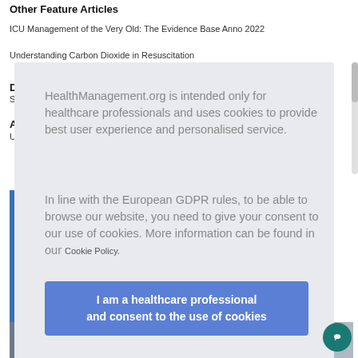Other Feature Articles
ICU Management of the Very Old: The Evidence Base Anno 2022
Understanding Carbon Dioxide in Resuscitation
HealthManagement.org is intended only for healthcare professionals and uses cookies to provide best user experience and personalised service.
In line with the European GDPR rules, to be able to browse our website, you need to give your consent to our use of cookies. More information can be found in our Cookie Policy.
I am a healthcare professional and consent to the use of cookies